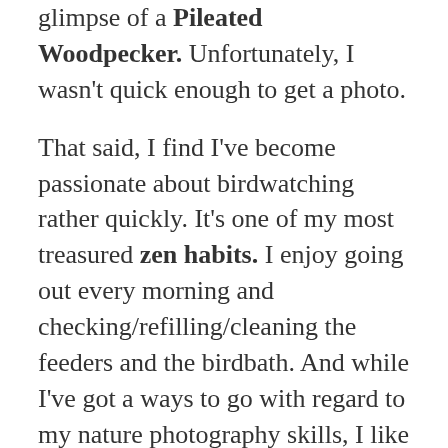glimpse of a Pileated Woodpecker. Unfortunately, I wasn't quick enough to get a photo.
That said, I find I've become passionate about birdwatching rather quickly. It's one of my most treasured zen habits. I enjoy going out every morning and checking/refilling/cleaning the feeders and the birdbath. And while I've got a ways to go with regard to my nature photography skills, I like trying my hand at it.
Anyway, despite the title of this post, which may suggest a lengthy, philosophical-type diatribe on birdwatching, what I'd like to do is share some of my photos with you instead. I hope you enjoy